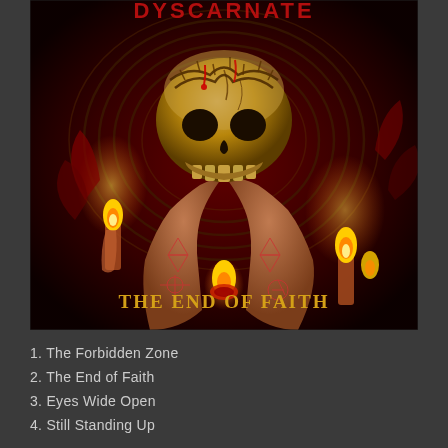[Figure (illustration): Album cover art for 'The End of Faith'. Dark red background with a human skull held up by two hands covered in occult symbols. Candles burn on both sides. A crown of thorns sits atop the skull. Golden text at the bottom reads 'THE END OF FAITH'. Red stylized band name text at the top.]
1. The Forbidden Zone
2. The End of Faith
3. Eyes Wide Open
4. Still Standing Up